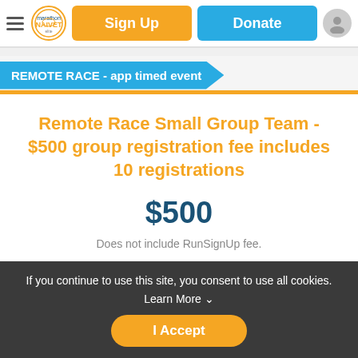Sign Up | Donate
REMOTE RACE - app timed event
Remote Race Small Group Team - $500 group registration fee includes 10 registrations
$500
Does not include RunSignUp fee.
If you continue to use this site, you consent to use all cookies. Learn More ∨
I Accept